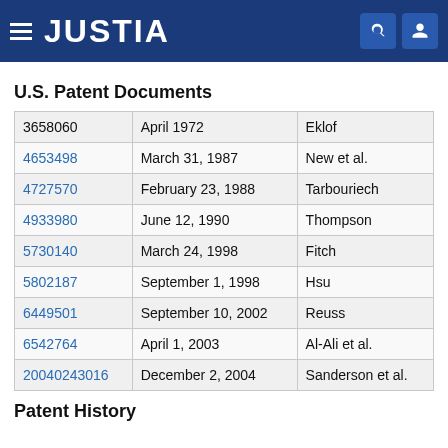JUSTIA
U.S. Patent Documents
|  |  |  |
| --- | --- | --- |
| 3658060 | April 1972 | Eklof |
| 4653498 | March 31, 1987 | New et al. |
| 4727570 | February 23, 1988 | Tarbouriech |
| 4933980 | June 12, 1990 | Thompson |
| 5730140 | March 24, 1998 | Fitch |
| 5802187 | September 1, 1998 | Hsu |
| 6449501 | September 10, 2002 | Reuss |
| 6542764 | April 1, 2003 | Al-Ali et al. |
| 20040243016 | December 2, 2004 | Sanderson et al. |
Patent History